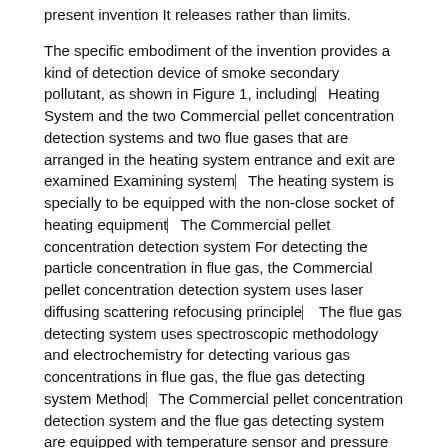present invention It releases rather than limits.
The specific embodiment of the invention provides a kind of detection device of smoke secondary pollutant, as shown in Figure 1, including—Heating System and the two Commercial pellet concentration detection systems and two flue gases that are arranged in the heating system entrance and exit are examined Examining system—The heating system is specially to be equipped with the non-close socket of heating equipment—The Commercial pellet concentration detection system For detecting the particle concentration in flue gas, the Commercial pellet concentration detection system uses laser diffusing scattering refocusing principle— The flue gas detecting system uses spectroscopic methodology and electrochemistry for detecting various gas concentrations in flue gas, the flue gas detecting system Method—The Commercial pellet concentration detection system and the flue gas detecting system are equipped with temperature sensor and pressure sensor.
Embodiment 1
By above equipment, the present embodiment provides a